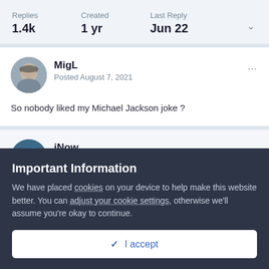Replies 1.4k | Created 1 yr | Last Reply Jun 22
MigL
Posted August 7, 2021
So nobody liked my Michael Jackson joke ?
iNow
Important Information
We have placed cookies on your device to help make this website better. You can adjust your cookie settings, otherwise we'll assume you're okay to continue.
✓  I accept